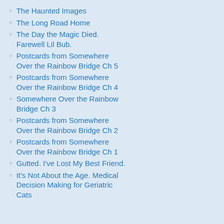The Haunted Images
The Long Road Home
The Day the Magic Died. Farewell Lil Bub.
Postcards from Somewhere Over the Rainbow Bridge Ch 5
Postcards from Somewhere Over the Rainbow Bridge Ch 4
Somewhere Over the Rainbow Bridge Ch 3
Postcards from Somewhere Over the Rainbow Bridge Ch 2
Postcards from Somewhere Over the Rainbow Bridge Ch 1
Gutted. I've Lost My Best Friend.
It's Not About the Age. Medical Decision Making for Geriatric Cats
More
Concurrent use of nephrotoxic
Multiple injections or concurren METACAM) or corticosteroid sh
Post-Approval Experience (Rev. 2010): The experience reporting. Not all adverse reac the adverse event frequency or establish a adverse events are listed in decreasing or Gastrointestinal: vomiting, anorexia, diam Urinary: azotemia, elevated creatinine, re Neurological/Behavioral: lethargy, depress Hepatic: elevated liver enzymes Dermatologic: pruritus Death has been reported as an outcome c associated with use of meloxicam in cats
This is from the Boehringer Inge states: "Death has been reporte above. Acute renal failure and meloxicam in cats."
Should YOU have to k have to know about ev prescribes? Why can't They're the ones who
Guess again. There can be mo Surprisingly, diet alone can h get involved with understand